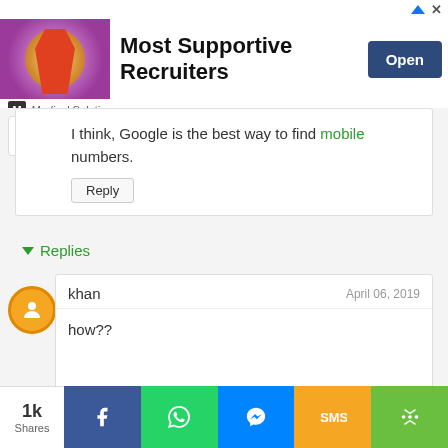[Figure (screenshot): Advertisement banner for Medical Solutions: Most Supportive Recruiters with Open button]
I think, Google is the best way to find mobile numbers.
Replies
khan
April 06, 2019
how??
Unknown
May 25, 2020
how
[Figure (infographic): Bottom share bar with 1k Shares, Facebook, WhatsApp, Messenger, SMS, and More share buttons]